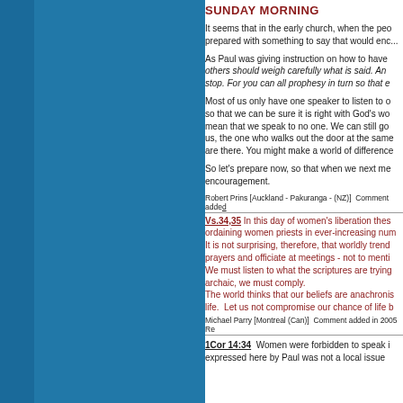SUNDAY MORNING
It seems that in the early church, when the people gathered together, each came prepared with something to say that would enc...
As Paul was giving instruction on how to have an orderly meeting, he said: others should weigh carefully what is said. And if a revelation comes to someone who is sitting down, the first speaker should stop. For you can all prophesy in turn so that e...
Most of us only have one speaker to listen to on a Sunday morning. We are to listen so that we can be sure it is right with God's wo... mean that we speak to no one. We can still go... us, the one who walks out the door at the same... are there. You might make a world of difference...
So let's prepare now, so that when we next me... encouragement.
Robert Prins [Auckland - Pakuranga - (NZ)]  Comment added
Vs.34,35 In this day of women's liberation the... ordaining women priests in ever-increasing num... It is not surprising, therefore, that worldly trend... prayers and officiate at meetings - not to menti... We must listen to what the scriptures are trying... archaic, we must comply. The world thinks that our beliefs are anachronis... life.  Let us not compromise our chance of life b...
Michael Parry [Montreal (Can)]  Comment added in 2005  Re...
1Cor 14:34  Women were forbidden to speak i... expressed here by Paul was not a local issue...